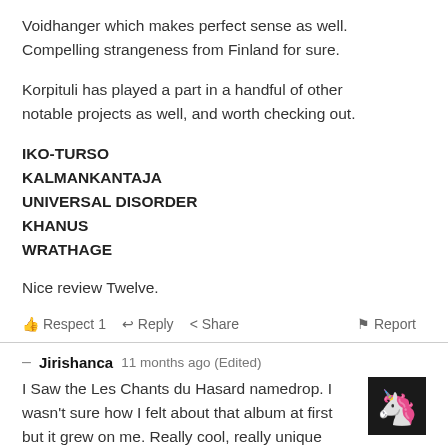Voidhanger which makes perfect sense as well. Compelling strangeness from Finland for sure.
Korpituli has played a part in a handful of other notable projects as well, and worth checking out.
IKO-TURSO
KALMANKANTAJA
UNIVERSAL DISORDER
KHANUS
WRATHAGE
Nice review Twelve.
Respect 1  Reply  Share  Report
Jirishanca  11 months ago (Edited)
I Saw the Les Chants du Hasard namedrop. I wasn't sure how I felt about that album at first but it grew on me. Really cool, really unique stuff.